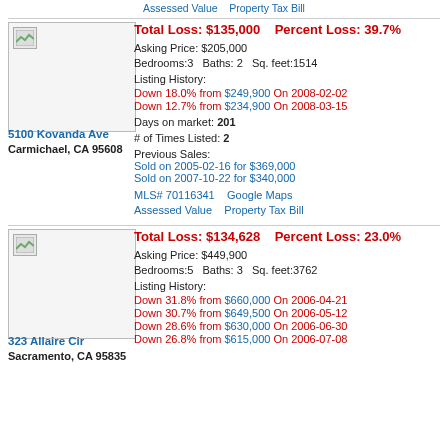Assessed Value   Property Tax Bill
Total Loss: $135,000   Percent Loss: 39.7%
Asking Price: $205,000
Bedrooms:3   Baths: 2   Sq. feet:1514
Listing History:
Down 18.0% from $249,900 On 2008-02-02
Down 12.7% from $234,900 On 2008-03-15
Days on market: 201
# of Times Listed: 2
Previous Sales:
Sold on 2005-02-16 for $369,000
Sold on 2007-10-22 for $340,000
MLS# 70116341   Google Maps
Assessed Value   Property Tax Bill
5100 Kovanda Ave
Carmichael, CA 95608
Total Loss: $134,628   Percent Loss: 23.0%
Asking Price: $449,900
Bedrooms:5   Baths: 3   Sq. feet:3762
Listing History:
Down 31.8% from $660,000 On 2006-04-21
Down 30.7% from $649,500 On 2006-05-12
Down 28.6% from $630,000 On 2006-06-30
Down 26.8% from $615,000 On 2006-07-08
323 Allaire Cir
Sacramento, CA 95835